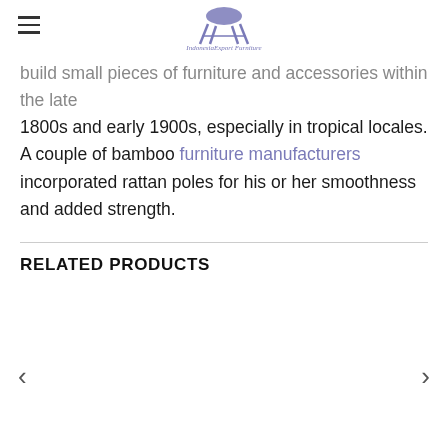IndonesiaExport Furniture (logo)
build small pieces of furniture and accessories within the late 1800s and early 1900s, especially in tropical locales. A couple of bamboo furniture manufacturers incorporated rattan poles for his or her smoothness and added strength.
RELATED PRODUCTS